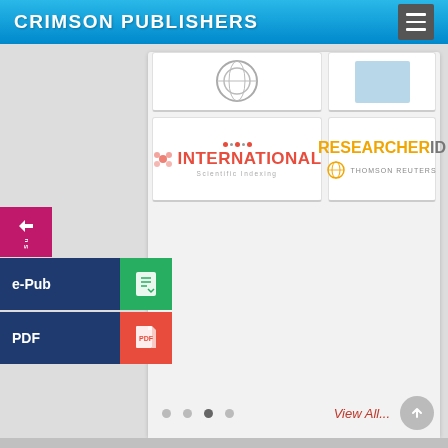CRIMSON PUBLISHERS
[Figure (logo): Partial logo card (top left, cropped) showing circular emblem]
[Figure (logo): Partial logo card (top right, cropped) with light blue square]
[Figure (logo): International Scientific Indexing logo - red dots and INTERNATIONAL text with Scientific Indexing subtitle]
[Figure (logo): ResearcherID by Thomson Reuters - orange text logo with globe icon]
[Figure (illustration): Side panel with Submit button (magenta), e-Pub button (dark blue with green epub icon), PDF button (dark blue with red PDF icon)]
View All...
• • • •  (navigation dots, third active)